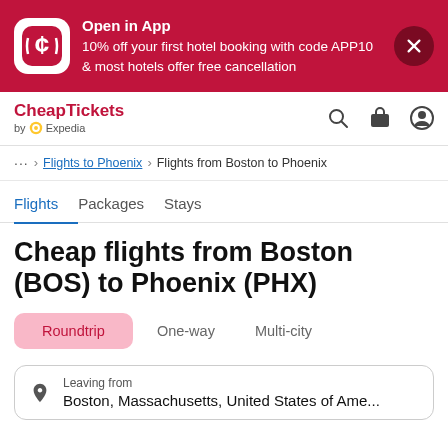[Figure (infographic): CheapTickets app promotional banner with logo, offer text, and close button]
CheapTickets by Expedia
... > Flights to Phoenix > Flights from Boston to Phoenix
Flights  Packages  Stays
Cheap flights from Boston (BOS) to Phoenix (PHX)
Roundtrip  One-way  Multi-city
Leaving from
Boston, Massachusetts, United States of Ame...